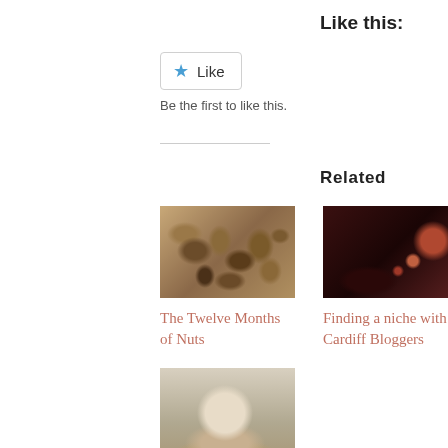Like this:
[Figure (screenshot): Like button widget with blue star icon and 'Like' text, rounded rectangle border]
Be the first to like this.
Related
[Figure (photo): Photo of mixed chocolate-covered nuts on a plate]
[Figure (photo): Dark interior photo of Cardiff Bloggers event with dim red lighting]
The Twelve Months of Nuts
Finding a niche with Cardiff Bloggers
[Figure (photo): Photo of a baby with food, partially visible]
Blog, not blag